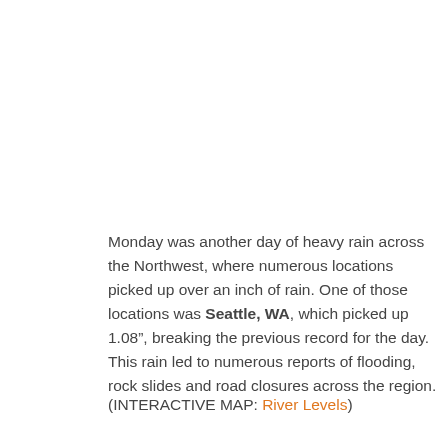Monday was another day of heavy rain across the Northwest, where numerous locations picked up over an inch of rain. One of those locations was Seattle, WA, which picked up 1.08", breaking the previous record for the day. This rain led to numerous reports of flooding, rock slides and road closures across the region.
(INTERACTIVE MAP: River Levels)